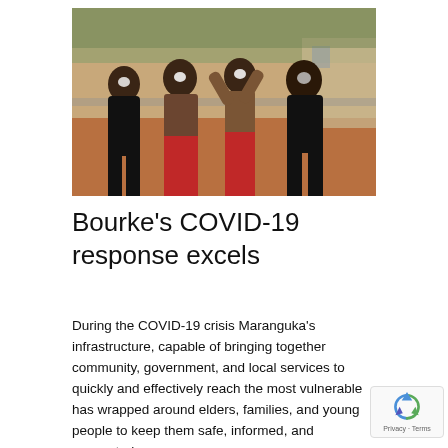[Figure (photo): Four Indigenous Australian children with traditional white face paint, standing outdoors on red dirt ground. Two children wear red shorts, others in dark clothing. Trees and a fence visible in background.]
Bourke's COVID-19 response excels
During the COVID-19 crisis Maranguka's infrastructure, capable of bringing together community, government, and local services to quickly and effectively reach the most vulnerable has wrapped around elders, families, and young people to keep them safe, informed, and connected.